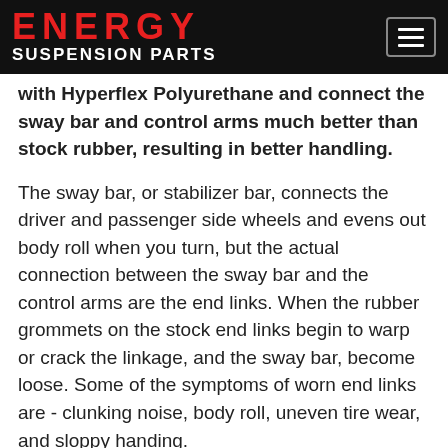ENERGY SUSPENSION PARTS
with Hyperflex Polyurethane and connect the sway bar and control arms much better than stock rubber, resulting in better handling.
The sway bar, or stabilizer bar, connects the driver and passenger side wheels and evens out body roll when you turn, but the actual connection between the sway bar and the control arms are the end links. When the rubber grommets on the stock end links begin to warp or crack the linkage, and the sway bar, become loose. Some of the symptoms of worn end links are - clunking noise, body roll, uneven tire wear, and sloppy handing.
If you need a durable replacement sway bar end link, Energy Suspension uses their patented Hyperflex Polyurethane in their end link grommets which lasts much longer than rubber and holds the sway bar in place.